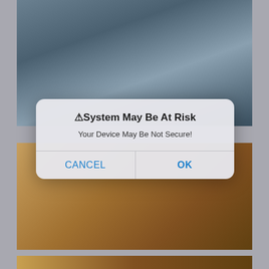[Figure (screenshot): iOS-style system alert dialog overlaid on a background of photo thumbnails. The alert reads: '⚠System May Be At Risk' with message 'Your Device May Be Not Secure!' and two buttons: CANCEL and OK.]
⚠System May Be At Risk
Your Device May Be Not Secure!
CANCEL
OK